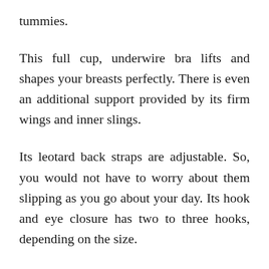tummies.
This full cup, underwire bra lifts and shapes your breasts perfectly. There is even an additional support provided by its firm wings and inner slings.
Its leotard back straps are adjustable. So, you would not have to worry about them slipping as you go about your day. Its hook and eye closure has two to three hooks, depending on the size.